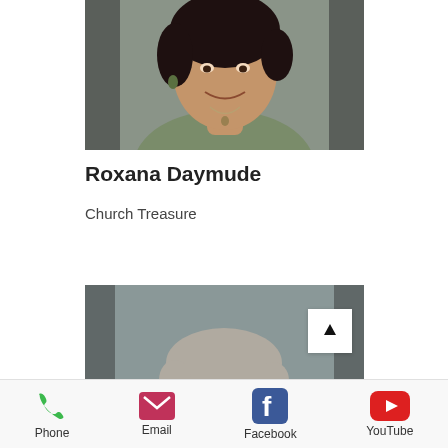[Figure (photo): Headshot photo of Roxana Daymude, a woman with dark hair wearing a green/olive blouse with a necklace, smiling, against a gray background]
Roxana Daymude
Church Treasure
[Figure (photo): Partial headshot of a second person with gray/silver hair against a gray background, partially cropped]
Phone   Email   Facebook   YouTube